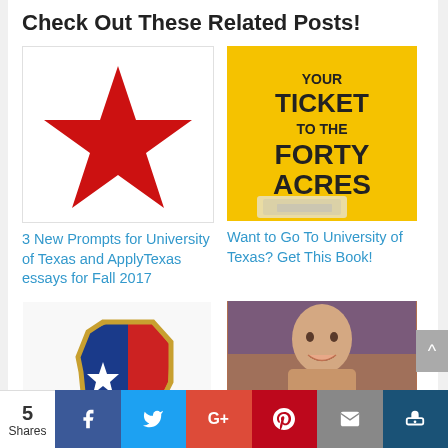Check Out These Related Posts!
[Figure (illustration): Red star on white background]
[Figure (illustration): Yellow book cover: YOUR TICKET TO THE FORTY ACRES with ticket stub graphic]
3 New Prompts for University of Texas and ApplyTexas essays for Fall 2017
Want to Go To University of Texas? Get This Book!
[Figure (illustration): Texas state shape patch with flag colors and gold border]
[Figure (photo): Smiling man in front of brick building]